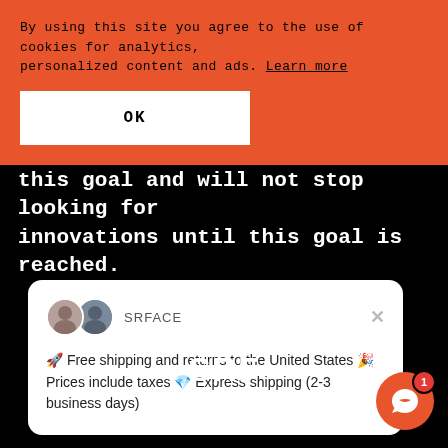By using this site you agree to the use of cookies for analytics, personalized content and ads. Learn more
OK
this goal and will not stop looking for innovations until this goal is reached.
[Figure (screenshot): Notification card from SRFACE brand with two avatar icons, a close button, and text: 🚀 Free shipping and returns to the United States 🎉 Prices include taxes 💎 Express shipping (2-3 business days)]
[Figure (logo): SRFACE logo in white bold text on black background]
[Figure (other): Orange chat bubble icon with badge showing number 1]